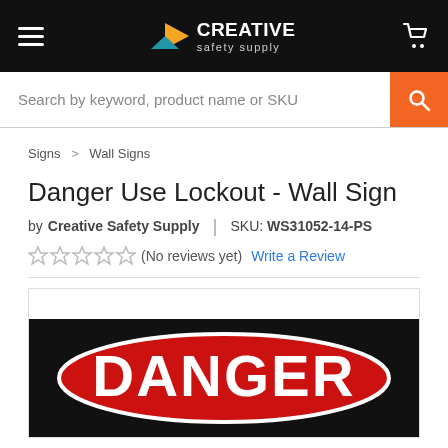Creative Safety Supply
Search by keyword, product name or SKU
Signs > Wall Signs
Danger Use Lockout - Wall Sign
by Creative Safety Supply | SKU: WS31052-14-PS
(No reviews yet) Write a Review
[Figure (photo): Product image showing a DANGER sign with red oval and white bold text on black background]